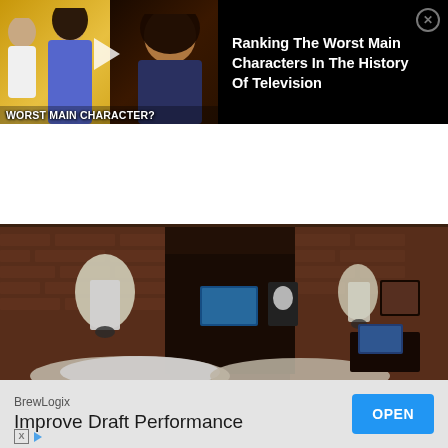[Figure (screenshot): Advertisement banner showing TV show characters with text 'WORST MAIN CHARACTER?' on yellow background, next to black panel with title 'Ranking The Worst Main Characters In The History Of Television' and a close button]
[Figure (photo): Hotel room interior with exposed brick walls, warm lamp lighting, bed with white pillows, wall art, flat screen TV, and a laptop on bedside table]
[Figure (screenshot): Bottom advertisement bar showing 'BrewLogix / Improve Draft Performance' with a blue OPEN button and X and play icons at bottom-left]